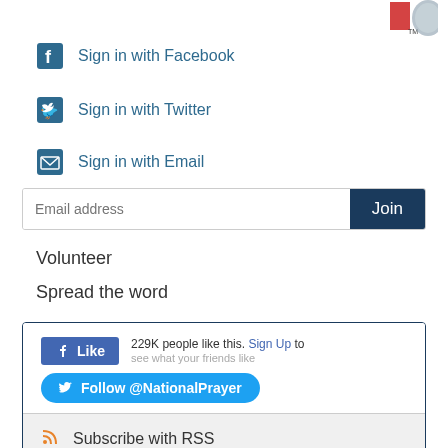[Figure (logo): Partial logos at top right — red and blue logos partially visible]
Sign in with Facebook
Sign in with Twitter
Sign in with Email
Email address  Join
Volunteer
Spread the word
[Figure (screenshot): Facebook Like button showing 229K people like this. Sign Up to see what your friends like. Twitter Follow @NationalPrayer button.]
Subscribe with RSS